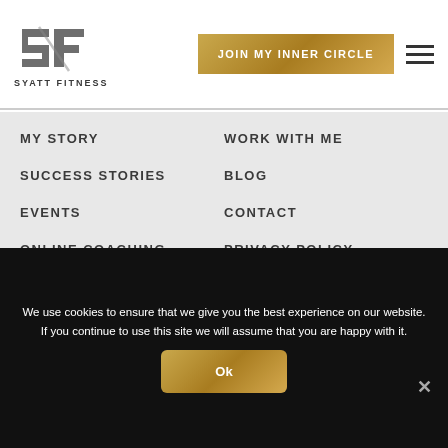[Figure (logo): Syatt Fitness logo with SF monogram and text SYATT FITNESS below]
JOIN MY INNER CIRCLE
MY STORY
WORK WITH ME
SUCCESS STORIES
BLOG
EVENTS
CONTACT
ONLINE COACHING
PRIVACY POLICY
EXCLUSIVE CONTENT
TERMS OF SERVICE
CONTACT ME
We use cookies to ensure that we give you the best experience on our website. If you continue to use this site we will assume that you are happy with it.
Ok